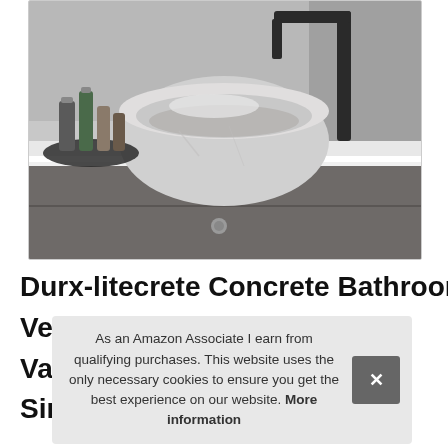[Figure (photo): A modern bathroom vessel sink (round, light gray/white concrete bowl) sitting on a white countertop with a dark matte faucet behind it. A tray with beauty products is visible on the left. Below the counter is a dark gray/charcoal cabinet drawer with a small round handle.]
Durx-litecrete Concrete Bathroom
Ve
Va
Sin
As an Amazon Associate I earn from qualifying purchases. This website uses the only necessary cookies to ensure you get the best experience on our website. More information